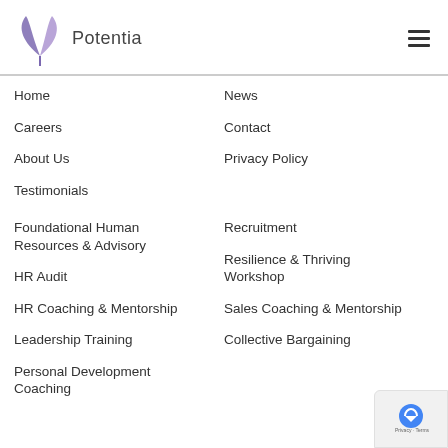[Figure (logo): Potentia logo with leaf/butterfly icon in purple and the text 'Potentia']
Home
News
Careers
Contact
About Us
Privacy Policy
Testimonials
Foundational Human Resources & Advisory
Recruitment
HR Audit
Resilience & Thriving Workshop
HR Coaching & Mentorship
Sales Coaching & Mentorship
Leadership Training
Collective Bargaining
Personal Development Coaching